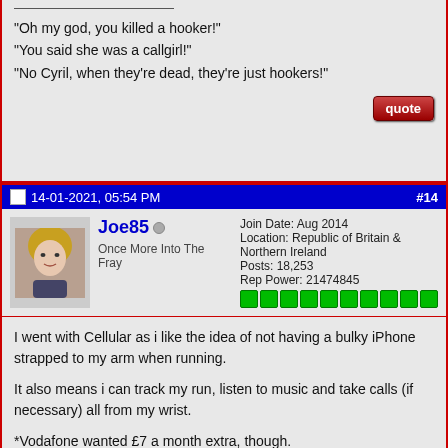"Oh my god, you killed a hooker!"
"You said she was a callgirl!"
"No Cyril, when they're dead, they're just hookers!"
14-01-2021, 05:54 PM  #14
Joe85
Once More Into The Fray
Join Date: Aug 2014
Location: Republic of Britain & Northern Ireland
Posts: 18,253
Rep Power: 21474845
I went with Cellular as i like the idea of not having a bulky iPhone strapped to my arm when running.

It also means i can track my run, listen to music and take calls (if necessary) all from my wrist.

*Vodafone wanted £7 a month extra, though.

Breahin deep, breathin easy...
14-01-2021, 09:04 PM  #15
KingsleY
Registered User
Join Date: Nov 2003
Age: 35
Posts: 1,893